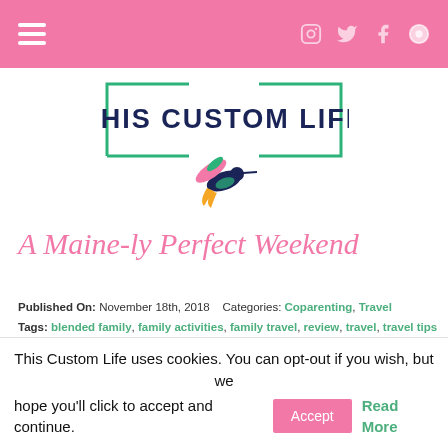Navigation bar with hamburger menu and social icons
[Figure (logo): This Custom Life blog logo: green rectangle border, dark navy bold text 'THIS CUSTOM LIFE', colorful hummingbird illustration below text]
A Maine-ly Perfect Weekend
Published On: November 18th, 2018   Categories: Coparenting, Travel
Tags: blended family, family activities, family travel, review, travel, travel tips
13.3 min read
This Custom Life uses cookies. You can opt-out if you wish, but we hope you'll click to accept and continue.